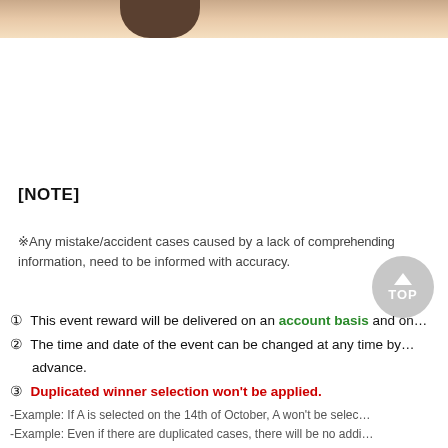[Figure (photo): Partial photo strip at top of page showing skin/hair tones in brown and beige colors]
[NOTE]
※Any mistake/accident cases caused by a lack of comprehending information, need to be informed with accuracy.
① This event reward will be delivered on an account basis and one time only.
② The time and date of the event can be changed at any time by the company in advance.
③ Duplicated winner selection won't be applied.
-Example: If A is selected on the 14th of October, A won't be selected again.
-Example: Even if there are duplicated cases, there will be no additional reward.